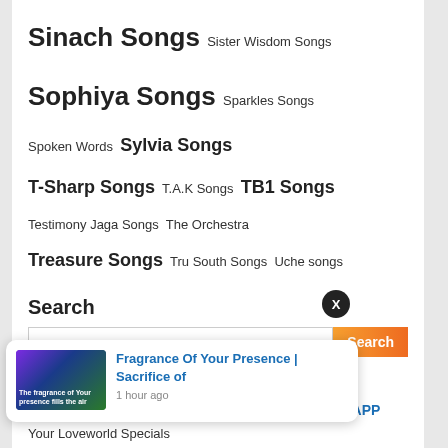Sinach Songs  Sister Wisdom Songs
Sophiya Songs  Sparkles Songs
Spoken Words  Sylvia Songs
T-Sharp Songs  T.A.K Songs  TB1 Songs
Testimony Jaga Songs  The Orchestra
Treasure Songs  Tru South Songs  Uche songs
UK Band Songs  UR Flames Songs
Vashaun Songs  Viwe Nikita Songs
Your Loveworld Specials
Search
JOIN OUR TELEGRAM  JOIN OUR WHATSAPP
[Figure (screenshot): Notification popup: Fragrance Of Your Presence | Sacrifice of — 1 hour ago]
AL MEDIA